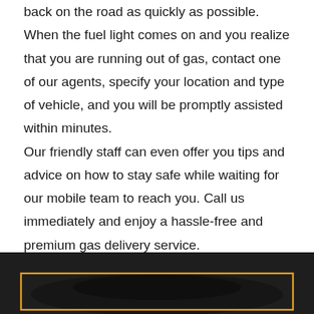back on the road as quickly as possible. When the fuel light comes on and you realize that you are running out of gas, contact one of our agents, specify your location and type of vehicle, and you will be promptly assisted within minutes.
Our friendly staff can even offer you tips and advice on how to stay safe while waiting for our mobile team to reach you. Call us immediately and enjoy a hassle-free and premium gas delivery service.
[Figure (photo): Dark image of a vehicle, partially visible at the bottom of the page, with an orange/gold rectangular border overlay on a dark background]